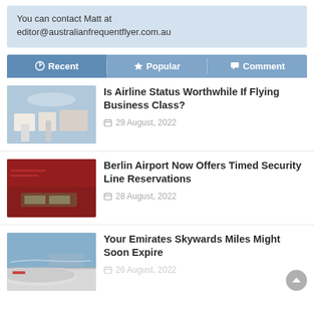You can contact Matt at editor@australianfrequentflyer.com.au
Recent | Popular | Comment
Is Airline Status Worthwhile If Flying Business Class? — 29 August, 2022
Berlin Airport Now Offers Timed Security Line Reservations — 28 August, 2022
Your Emirates Skywards Miles Might Soon Expire — 26 August, 2022